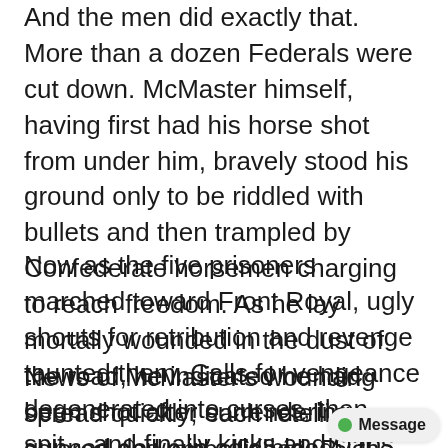And the men did exactly that. More than a dozen Federals were cut down. McMaster himself, having first had his horse shot from under him, bravely stood his ground only to be riddled with bullets and then trampled by Confederate horsemen charging to reach freedom. As he lay mortally wounded in the dust of the road, he indicated he had been shot after surrendering, gunned down in cold blood!
Now as the five prisoners marched toward Front Royal, ugly shouts for retribution and revenge taunted them. Calls for vengeance degenerated into curses, then spit... and finally kicks and slaps. Officers along the column said nothing or looked the other way.
News of McMaster's wounding spread quickly; each retelling colored and embellished. By the time the outraged procession entered Front Royal, it was little more than an armed mob. Knots of angry soldi...